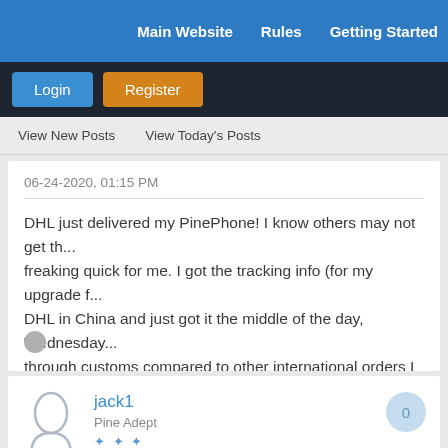Main Website   Rules   Getting Started
Login   Register
View New Posts   View Today's Posts
06-24-2020, 01:15 PM
DHL just delivered my PinePhone! I know others may not get th... freaking quick for me. I got the tracking info (for my upgrade f... DHL in China and just got it the middle of the day, Wednesday... through customs compared to other international orders I hav... Thanks for all the updates and trasparency (imo) from the Pine...
jack1
Pine Adept